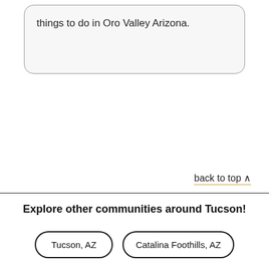things to do in Oro Valley Arizona.
back to top ^
Explore other communities around Tucson!
Tucson, AZ
Catalina Foothills, AZ